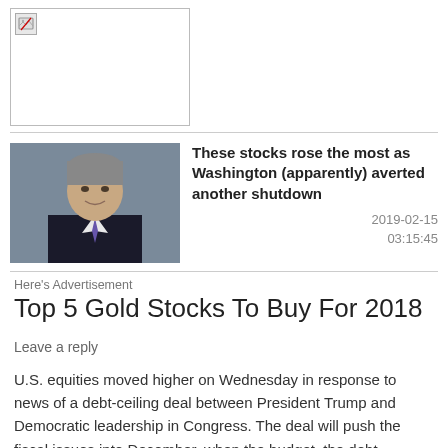[Figure (photo): Broken/missing image placeholder with a small broken image icon in top-left corner, white box with border]
[Figure (photo): Headshot of a man in a suit with gray background]
These stocks rose the most as Washington (apparently) averted another shutdown
2019-02-15 03:15:45
Here's Advertisement
Top 5 Gold Stocks To Buy For 2018
Leave a reply
U.S. equities moved higher on Wednesday in response to news of a debt-ceiling deal between President Trump and Democratic leadership in Congress. The deal will push the fiscal issues into December, when the budget, the debt